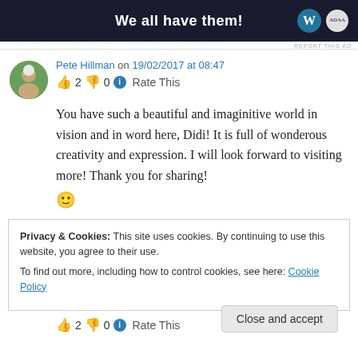[Figure (other): Dark advertisement banner with white bold text 'We all have them!' and WordPress logo icon and ADAA badge on right]
REPORT THIS AD
Pete Hillman on 19/02/2017 at 08:47
👍 2 👎 0 ℹ Rate This
You have such a beautiful and imaginitive world in vision and in word here, Didi! It is full of wonderous creativity and expression. I will look forward to visiting more! Thank you for sharing! 🙂
Privacy & Cookies: This site uses cookies. By continuing to use this website, you agree to their use.
To find out more, including how to control cookies, see here: Cookie Policy
Close and accept
👍 2 👎 0 ℹ Rate This